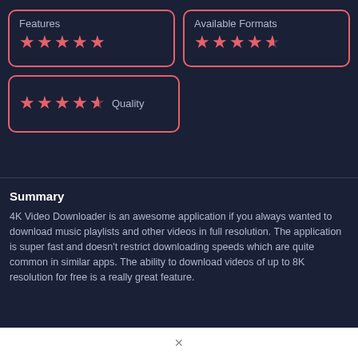[Figure (infographic): Rating card for Features category showing 5 out of 5 stars in salmon/pink color on dark navy background with pink border]
[Figure (infographic): Rating card for Available Formats category showing 4.5 out of 5 stars in salmon/pink color on dark navy background with pink border]
[Figure (infographic): Rating card for Quality category showing 4.5 out of 5 stars in salmon/pink color with Quality label, on dark navy background with pink border]
Summary
4K Video Downloader is an awesome application if you always wanted to download music playlists and other videos in full resolution. The application is super fast and doesn't restrict downloading speeds which are quite common in similar apps. The ability to download videos of up to 8K resolution for free is a really great feature.